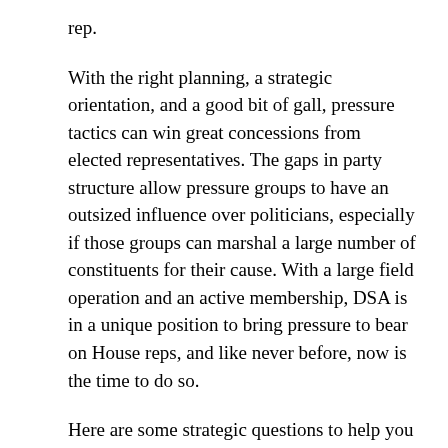rep.
With the right planning, a strategic orientation, and a good bit of gall, pressure tactics can win great concessions from elected representatives. The gaps in party structure allow pressure groups to have an outsized influence over politicians, especially if those groups can marshal a large number of constituents for their cause. With a large field operation and an active membership, DSA is in a unique position to bring pressure to bear on House reps, and like never before, now is the time to do so.
Here are some strategic questions to help you decide how to approach your pressure campaign:
What does my chapter need to employ this tactic effectively, and do we have those